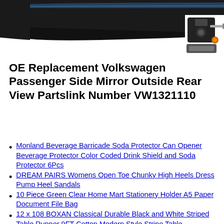[Figure (photo): Partial view of a car bumper/rear with a hitch or mechanical component visible on the right side. Dark colored vehicle part shown against white background.]
OE Replacement Volkswagen Passenger Side Mirror Outside Rear View Partslink Number VW1321110
Monland Beverage Barricade Soda Protector Can Opener Beverage Protector Color Coded Drink Shield and Soda Protector 6Pcs
DREAM PAIRS Womens Open Toe Chunky High Heels Dress Pump Heel Sandals
10 Piece Green Clear Home Mart Stationery Holder A5 Paper Document File Bag
12 x 108 BOXAN Classical Durable Black and White Striped Table Runner 9FT Cotton Modern Style Stripe Table